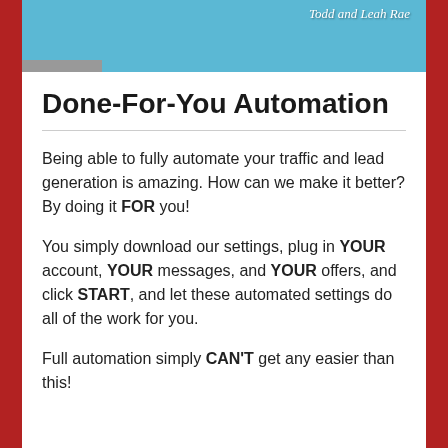[Figure (illustration): Top portion of a promotional image showing two illustrated characters (Todd and Leah Rae) with a light blue background and cursive brand text reading 'Todd and Leah Rae']
Done-For-You Automation
Being able to fully automate your traffic and lead generation is amazing. How can we make it better? By doing it FOR you!
You simply download our settings, plug in YOUR account, YOUR messages, and YOUR offers, and click START, and let these automated settings do all of the work for you.
Full automation simply CAN'T get any easier than this!